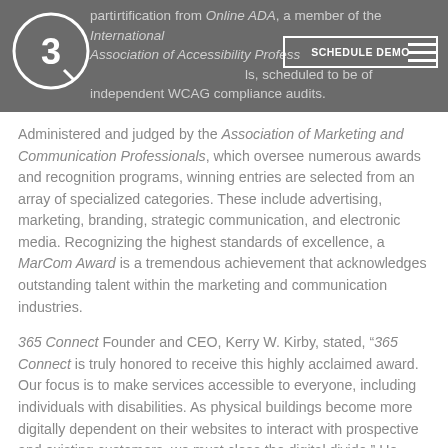parti...rtification from Online ADA, a member of the International Association of Accessibility Professionals, scheduled to be of independent WCAG compliance audits.
Administered and judged by the Association of Marketing and Communication Professionals, which oversee numerous awards and recognition programs, winning entries are selected from an array of specialized categories. These include advertising, marketing, branding, strategic communication, and electronic media. Recognizing the highest standards of excellence, a MarCom Award is a tremendous achievement that acknowledges outstanding talent within the marketing and communication industries.
365 Connect Founder and CEO, Kerry W. Kirby, stated, "365 Connect is truly honored to receive this highly acclaimed award. Our focus is to make services accessible to everyone, including individuals with disabilities. As physical buildings become more digitally dependent on their websites to interact with prospective and existing customers, we must close the digital divide." He added, "We are